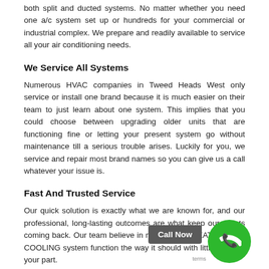both split and ducted systems. No matter whether you need one a/c system set up or hundreds for your commercial or industrial complex. We prepare and readily available to service all your air conditioning needs.
We Service All Systems
Numerous HVAC companies in Tweed Heads West only service or install one brand because it is much easier on their team to just learn about one system. This implies that you could choose between upgrading older units that are functioning fine or letting your present system go without maintenance till a serious trouble arises. Luckily for you, we service and repair most brand names so you can give us a call whatever your issue is.
Fast And Trusted Service
Our quick solution is exactly what we are known for, and our professional, long-lasting outcomes are what keep our clients coming back. Our team believe in making your HEATING AND COOLING system function the way it should with little work on your part.
Our professionals have years of experience in the market and successfully done thousands of a/c service Tweed Heads West for